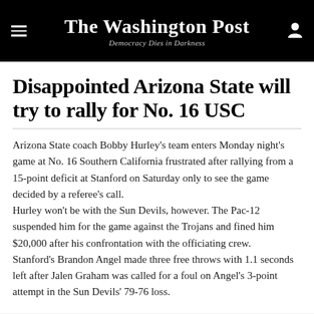The Washington Post — Democracy Dies in Darkness
Disappointed Arizona State will try to rally for No. 16 USC
Arizona State coach Bobby Hurley's team enters Monday night's game at No. 16 Southern California frustrated after rallying from a 15-point deficit at Stanford on Saturday only to see the game decided by a referee's call.
Hurley won't be with the Sun Devils, however. The Pac-12 suspended him for the game against the Trojans and fined him $20,000 after his confrontation with the officiating crew.
Stanford's Brandon Angel made three free throws with 1.1 seconds left after Jalen Graham was called for a foul on Angel's 3-point attempt in the Sun Devils' 79-76 loss.